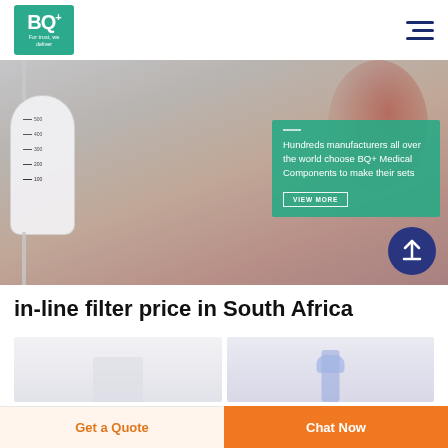[Figure (logo): BQ+ logo in teal/green box with tagline 'For trust, we deliver']
[Figure (photo): Hero banner showing a medical IV drip bag/filter in close-up with a teal overlay box containing promotional text and VIEW MORE button]
in-line filter price in South Africa
[Figure (photo): Left product image showing a plain white/grey in-line filter product]
[Figure (photo): Right product image showing a blue/transparent in-line filter product]
Get a Quote
Chat Now